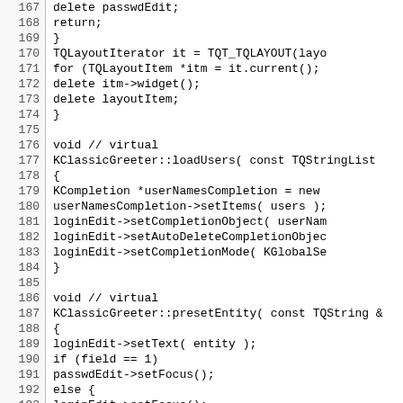Source code listing, lines 167-196
167    delete passwdEdit;
168            return;
169        }
170        TQLayoutIterator it = TQT_TQLAYOUT(layo
171        for (TQLayoutItem *itm = it.current();
172                delete itm->widget();
173        delete layoutItem;
174 }
175
176 void // virtual
177 KClassicGreeter::loadUsers( const TQStringList
178 {
179        KCompletion *userNamesCompletion = new
180        userNamesCompletion->setItems( users );
181        loginEdit->setCompletionObject( userNam
182        loginEdit->setAutoDeleteCompletionObjec
183        loginEdit->setCompletionMode( KGlobalSe
184 }
185
186 void // virtual
187 KClassicGreeter::presetEntity( const TQString &
188 {
189        loginEdit->setText( entity );
190        if (field == 1)
191                passwdEdit->setFocus();
192        else {
193                loginEdit->setFocus();
194                loginEdit->selectAll();
195                if (field == -1) {
196                        passwdEdit->setText( "